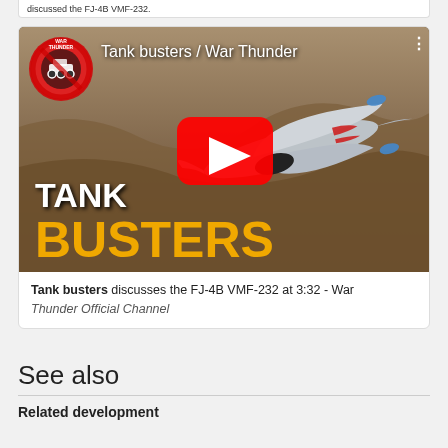discussed the FJ-4B VMF-232.
[Figure (screenshot): YouTube video thumbnail for 'Tank busters / War Thunder' showing a military jet aircraft flying low over terrain with 'TANK BUSTERS' text overlay and War Thunder channel logo, with YouTube play button in center.]
Tank busters discusses the FJ-4B VMF-232 at 3:32 - War Thunder Official Channel
See also
Related development